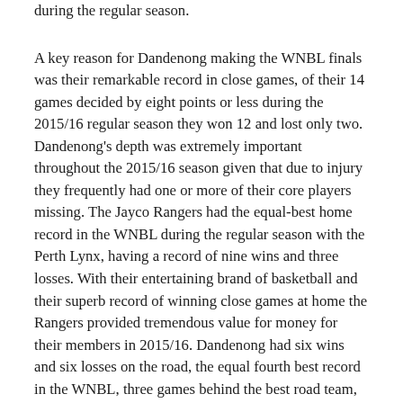during the regular season.
A key reason for Dandenong making the WNBL finals was their remarkable record in close games, of their 14 games decided by eight points or less during the 2015/16 regular season they won 12 and lost only two. Dandenong's depth was extremely important throughout the 2015/16 season given that due to injury they frequently had one or more of their core players missing. The Jayco Rangers had the equal-best home record in the WNBL during the regular season with the Perth Lynx, having a record of nine wins and three losses. With their entertaining brand of basketball and their superb record of winning close games at home the Rangers provided tremendous value for money for their members in 2015/16. Dandenong had six wins and six losses on the road, the equal fourth best record in the WNBL, three games behind the best road team, the eventual 2015/16 WNBL Champions the Townsville Fire...